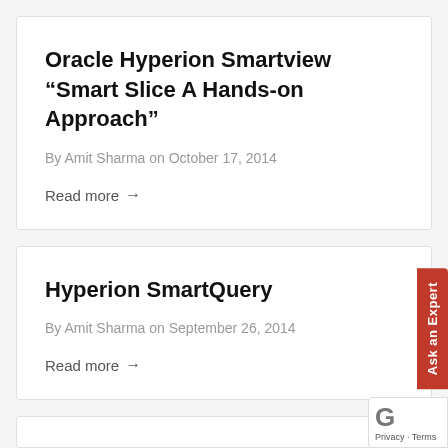Oracle Hyperion Smartview “Smart Slice A Hands-on Approach”
By Amit Sharma on October 17, 2014
Read more →
Hyperion SmartQuery
By Amit Sharma on September 26, 2014
Read more →